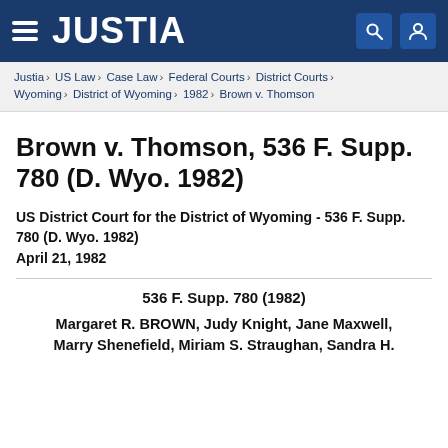JUSTIA
Justia › US Law › Case Law › Federal Courts › District Courts › Wyoming › District of Wyoming › 1982 › Brown v. Thomson
Brown v. Thomson, 536 F. Supp. 780 (D. Wyo. 1982)
US District Court for the District of Wyoming - 536 F. Supp. 780 (D. Wyo. 1982)
April 21, 1982
536 F. Supp. 780 (1982)
Margaret R. BROWN, Judy Knight, Jane Maxwell, Marry Shenefield, Miriam S. Straughan, Sandra H.